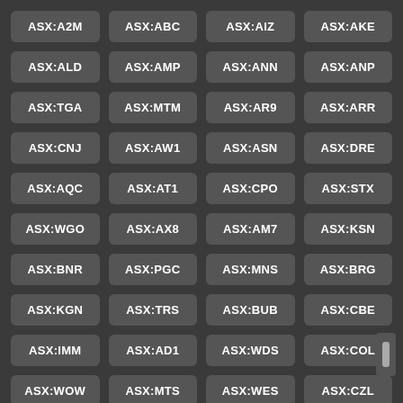ASX:A2M
ASX:ABC
ASX:AIZ
ASX:AKE
ASX:ALD
ASX:AMP
ASX:ANN
ASX:ANP
ASX:TGA
ASX:MTM
ASX:AR9
ASX:ARR
ASX:CNJ
ASX:AW1
ASX:ASN
ASX:DRE
ASX:AQC
ASX:AT1
ASX:CPO
ASX:STX
ASX:WGO
ASX:AX8
ASX:AM7
ASX:KSN
ASX:BNR
ASX:PGC
ASX:MNS
ASX:BRG
ASX:KGN
ASX:TRS
ASX:BUB
ASX:CBE
ASX:IMM
ASX:AD1
ASX:WDS
ASX:COL
ASX:WOW
ASX:MTS
ASX:WES
ASX:CZL
ASX:TMH
ASX:NWM
ASX:EQR
ASX:ESK